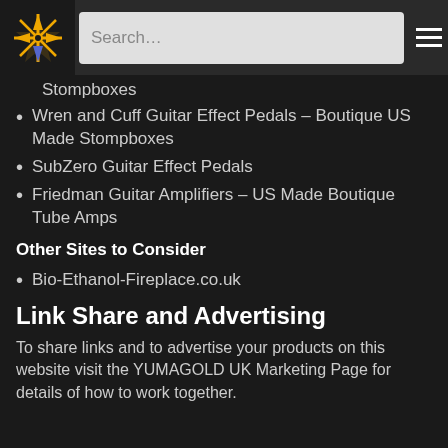Search…
Stompboxes
Wren and Cuff Guitar Effect Pedals – Boutique US Made Stompboxes
SubZero Guitar Effect Pedals
Friedman Guitar Amplifiers – US Made Boutique Tube Amps
Other Sites to Consider
Bio-Ethanol-Fireplace.co.uk
Link Share and Advertising
To share links and to advertise your products on this website visit the YUMAGOLD UK Marketing Page for details of how to work together.